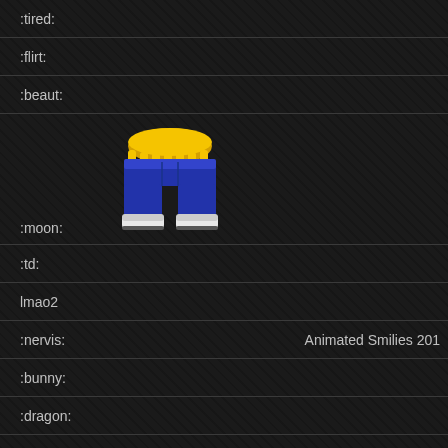:tired:
:flirt:
:beaut:
[Figure (illustration): Animated smiley image showing blue pants/shorts with gold trim and white shoes, displayed as a square icon]
:moon:
:td:
lmao2
:nervis:
Animated Smilies 201
:bunny:
:dragon:
:dragon2: